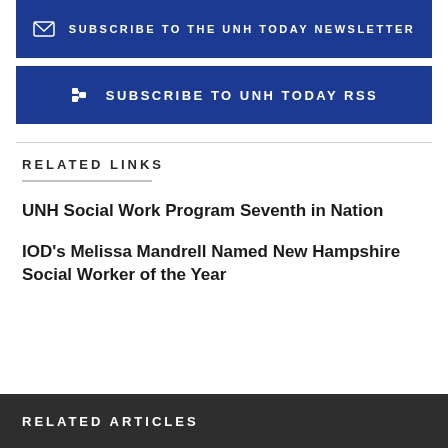SUBSCRIBE TO UNH TODAY RSS
RELATED LINKS
UNH Social Work Program Seventh in Nation
IOD's Melissa Mandrell Named New Hampshire Social Worker of the Year
RELATED ARTICLES